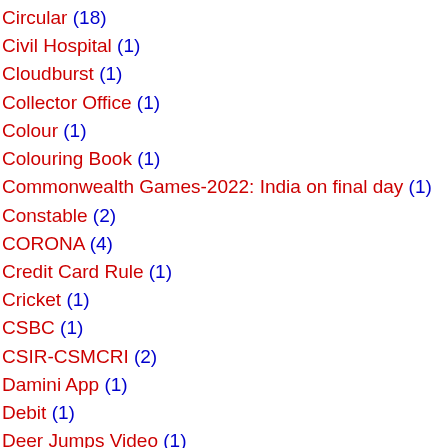Circular (18)
Civil Hospital (1)
Cloudburst (1)
Collector Office (1)
Colour (1)
Colouring Book (1)
Commonwealth Games-2022: India on final day (1)
Constable (2)
CORONA (4)
Credit Card Rule (1)
Cricket (1)
CSBC (1)
CSIR-CSMCRI (2)
Damini App (1)
Debit (1)
Deer Jumps Video (1)
Desi Ghee Benefits (1)
Design Home App (1)